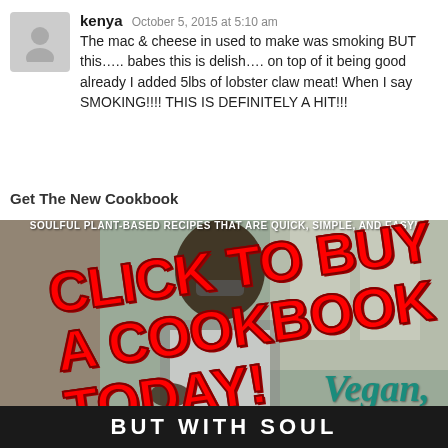kenya October 5, 2015 at 5:10 am
The mac & cheese in used to make was smoking BUT this….. babes this is delish…. on top of it being good already I added 5lbs of lobster claw meat! When I say SMOKING!!!! THIS IS DEFINITELY A HIT!!!
Get The New Cookbook
[Figure (photo): Cookbook promotional image with a man smiling, overlaid with red bold text reading 'CLICK TO BUY A COOKBOOK TODAY!' and subtitle text 'SOULFUL PLANT-BASED RECIPES THAT ARE QUICK, SIMPLE, AND EASY!' Vegan text in teal italic and a dark bottom bar with white block letters.]